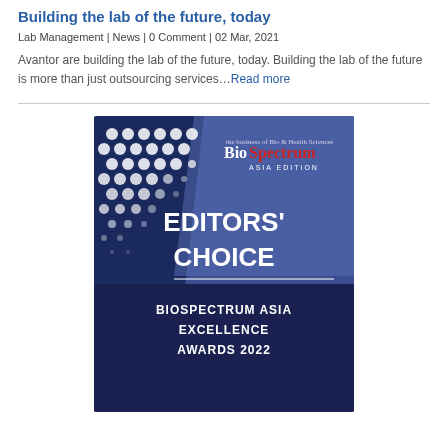Building the lab of the future, today
Lab Management | News | 0 Comment | 02 Mar, 2021
Avantor are building the lab of the future, today. Building the lab of the future is more than just outsourcing services…Read more
[Figure (illustration): BioSpectrum Asia Edition magazine cover showing Editors' Choice award — BioSpectrum Asia Excellence Awards 2022, with dark blue background and white hexagonal dot pattern on the left side]